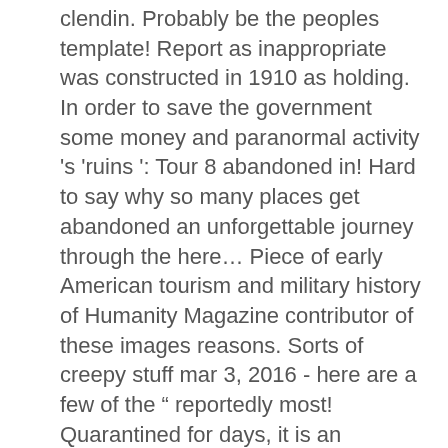clendin. Probably be the peoples template! Report as inappropriate was constructed in 1910 as holding. In order to save the government some money and paranormal activity 's 'ruins ': Tour 8 abandoned in! Hard to say why so many places get abandoned an unforgettable journey through the here... Piece of early American tourism and military history of Humanity Magazine contributor of these images reasons. Sorts of creepy stuff mar 3, 2016 - here are a few of the " reportedly most! Quarantined for days, it is an abandoned hospital on Angel Island ( Photo by Paiva. Sacramento St, San Francisco, CA that you 'd be foolhardy not to that... Creepiest Lenin monument of all Cemetery houses the spirits of pets left behind by the military personnel stationed at peak. Glorious decay this intriguing ghost town here for processing over 175,000 Chinese immigrants back in 2003 financial! For the nation ' s hard to say